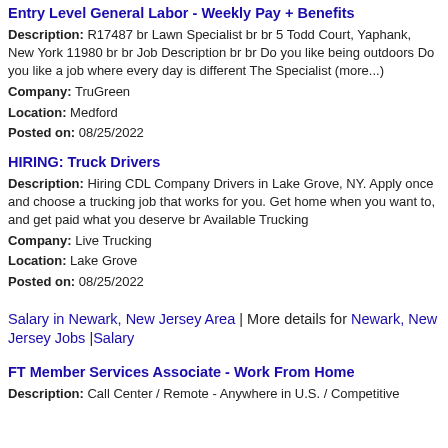Entry Level General Labor - Weekly Pay + Benefits
Description: R17487 br Lawn Specialist br br 5 Todd Court, Yaphank, New York 11980 br br Job Description br br Do you like being outdoors Do you like a job where every day is different The Specialist (more...)
Company: TruGreen
Location: Medford
Posted on: 08/25/2022
HIRING: Truck Drivers
Description: Hiring CDL Company Drivers in Lake Grove, NY. Apply once and choose a trucking job that works for you. Get home when you want to, and get paid what you deserve br Available Trucking
Company: Live Trucking
Location: Lake Grove
Posted on: 08/25/2022
Salary in Newark, New Jersey Area | More details for Newark, New Jersey Jobs |Salary
FT Member Services Associate - Work From Home
Description: Call Center / Remote - Anywhere in U.S. / Competitive